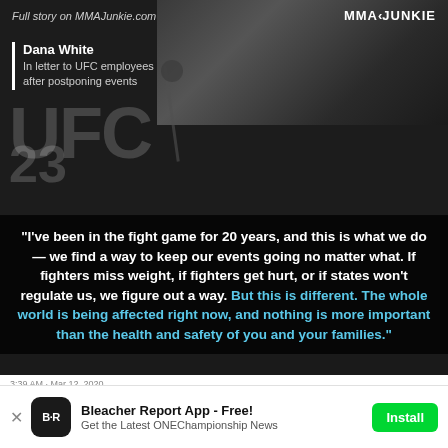[Figure (screenshot): MMAJunkie screenshot showing Dana White with hand on head at UFC press conference, with overlaid quote text. Top bar shows 'Full story on MMAJunkie.com' and 'MMAJUNKIE' logo. Name label reads 'Dana White / In letter to UFC employees / after postponing events'. Black background with UFC logo partially visible.]
“I’ve been in the fight game for 20 years, and this is what we do — we find a way to keep our events going no matter what. If fighters miss weight, if fighters get hurt, or if states won’t regulate us, we figure out a way. But this is different. The whole world is being affected right now, and nothing is more important than the health and safety of you and your families.”
Bleacher Report App - Free!
Get the Latest ONEChampionship News
Install